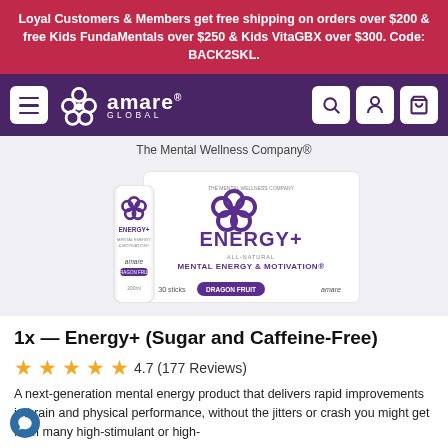Loyal Customers & Members get free shipping on orders over $200 & free Kids FundaMentals over $250 & Kids VitaGBX over $300. Code: BACK2SKL.
[Figure (logo): Amare Global navigation bar with logo, hamburger menu, search, account, and cart icons]
The Mental Wellness Company®
[Figure (photo): Amare Energy+ product box and single stick pack, Dragon Fruit flavor, 30 sticks. Purple/white packaging with Amare Global logo.]
1x — Energy+ (Sugar and Caffeine-Free)
4.7 (177 Reviews)
A next-generation mental energy product that delivers rapid improvements in brain and physical performance, without the jitters or crash you might get from many high-stimulant or high-